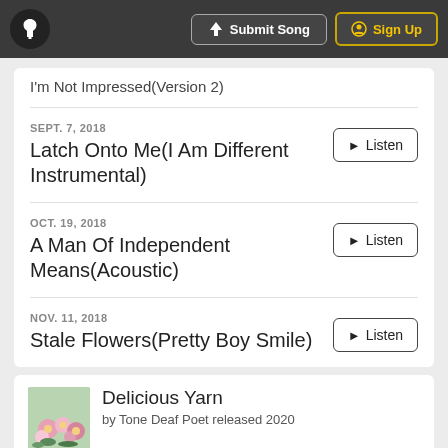Submit Song | Sign Up
I'm Not Impressed(Version 2)
SEPT. 7, 2018 — Latch Onto Me(I Am Different Instrumental)
OCT. 19, 2018 — A Man Of Independent Means(Acoustic)
NOV. 11, 2018 — Stale Flowers(Pretty Boy Smile)
Delicious Yarn — by Tone Deaf Poet released 2020